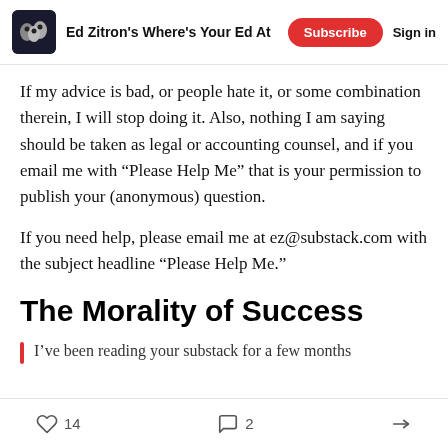Ed Zitron's Where's Your Ed At
If my advice is bad, or people hate it, or some combination therein, I will stop doing it. Also, nothing I am saying should be taken as legal or accounting counsel, and if you email me with “Please Help Me” that is your permission to publish your (anonymous) question.
If you need help, please email me at ez@substack.com with the subject headline “Please Help Me.”
The Morality of Success
I’ve been reading your substack for a few months
14 likes  2 comments  share